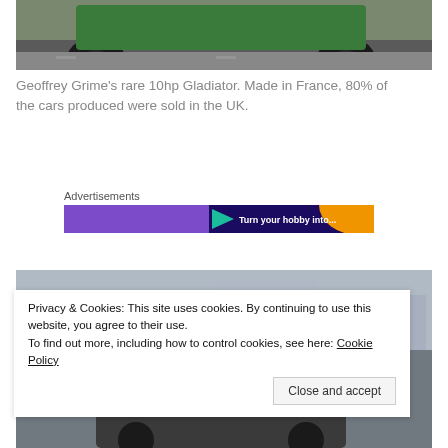[Figure (photo): Top portion of a vintage car (likely a Gladiator), showing the upper body and wheels on a road surface, cropped at the top of the page.]
Geoffrey Grime's rare 10hp Gladiator. Made in France, 80% of the cars produced were sold in the UK.
Advertisements
[Figure (screenshot): Advertisement banner with purple and dark background, teal arrow shape, orange accent, and text 'Turn your hobby into...']
[Figure (photo): Bottom photo showing people and a vintage car on a street, partially obscured by cookie notice overlay.]
Privacy & Cookies: This site uses cookies. By continuing to use this website, you agree to their use.
To find out more, including how to control cookies, see here: Cookie Policy
Close and accept